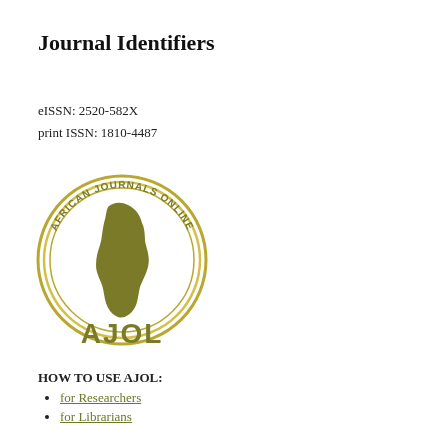Journal Identifiers
eISSN: 2520-582X
print ISSN: 1810-4487
[Figure (logo): AJOL - African Journals Online logo with circular gold ring containing Africa continent silhouette and text 'AFRICAN JOURNALS ONLINE' around the ring, with 'AJOL' text below in olive/gold color.]
HOW TO USE AJOL:
for Researchers
for Librarians